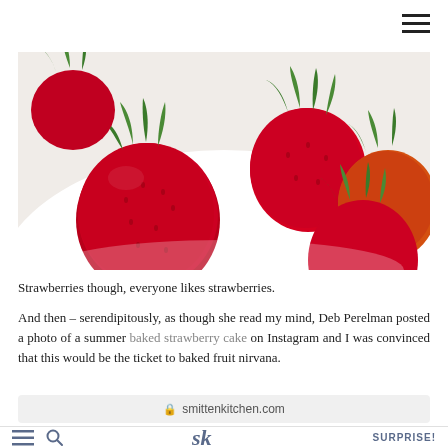[Figure (photo): Close-up photo of fresh red strawberries with green leaves in a white bowl]
Strawberries though, everyone likes strawberries.
And then – serendipitously, as though she read my mind, Deb Perelman posted a photo of a summer baked strawberry cake on Instagram and I was convinced that this would be the ticket to baked fruit nirvana.
smittenkitchen.com